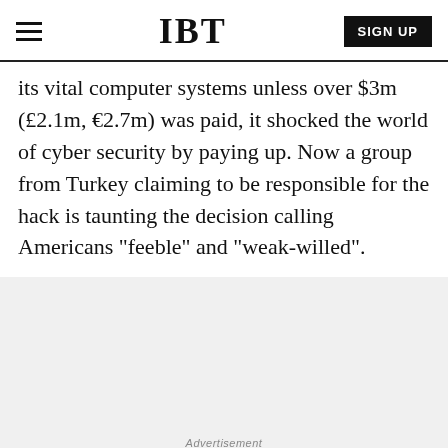IBT
its vital computer systems unless over $3m (£2.1m, €2.7m) was paid, it shocked the world of cyber security by paying up. Now a group from Turkey claiming to be responsible for the hack is taunting the decision calling Americans "feeble" and "weak-willed".
[Figure (other): Advertisement placeholder area with light gray background]